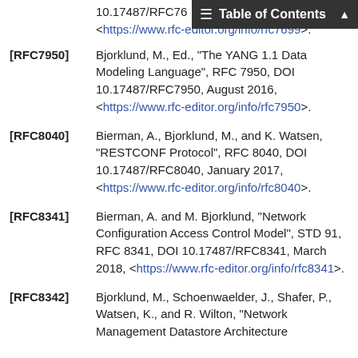Table of Contents
[RFC7950] Bjorklund, M., Ed., "The YANG 1.1 Data Modeling Language", RFC 7950, DOI 10.17487/RFC7950, August 2016, <https://www.rfc-editor.org/info/rfc7950>.
[RFC8040] Bierman, A., Bjorklund, M., and K. Watsen, "RESTCONF Protocol", RFC 8040, DOI 10.17487/RFC8040, January 2017, <https://www.rfc-editor.org/info/rfc8040>.
[RFC8341] Bierman, A. and M. Bjorklund, "Network Configuration Access Control Model", STD 91, RFC 8341, DOI 10.17487/RFC8341, March 2018, <https://www.rfc-editor.org/info/rfc8341>.
[RFC8342] Bjorklund, M., Schoenwaelder, J., Shafer, P., Watsen, K., and R. Wilton, "Network Management Datastore Architecture